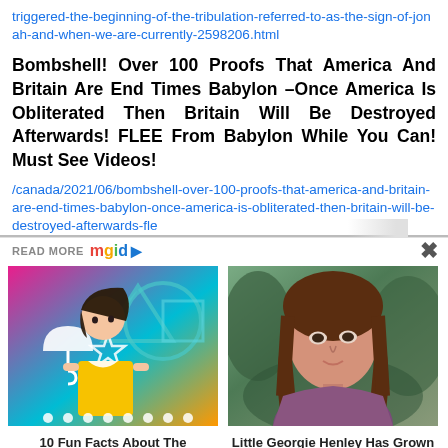triggered-the-beginning-of-the-tribulation-referred-to-as-the-sign-of-jonah-and-when-we-are-currently-2598206.html
Bombshell! Over 100 Proofs That America And Britain Are End Times Babylon –Once America Is Obliterated Then Britain Will Be Destroyed Afterwards! FLEE From Babylon While You Can! Must See Videos!
/canada/2021/06/bombshell-over-100-proofs-that-america-and-britain-are-end-times-babylon-once-america-is-obliterated-then-britain-will-be-destroyed-afterwards-fle
READ MORE mgid
[Figure (photo): Squid Game character doll with pink/teal/yellow background]
10 Fun Facts About The Notorious Squid Game: Spoilers, Beware
[Figure (photo): Young woman with long brown hair outdoors in natural setting]
Little Georgie Henley Has Grown Into A Beautiful Swan!